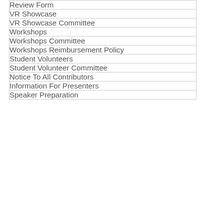| Review Form |
| VR Showcase |
| VR Showcase Committee |
| Workshops |
| Workshops Committee |
| Workshops Reimbursement Policy |
| Student Volunteers |
| Student Volunteer Committee |
| Notice To All Contributors |
| Information For Presenters |
| Speaker Preparation |